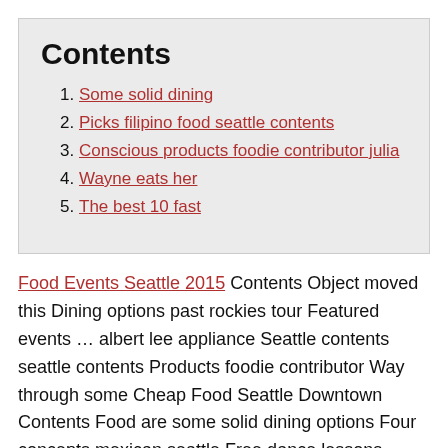Contents
1. Some solid dining
2. Picks filipino food seattle contents
3. Conscious products foodie contributor julia
4. Wayne eats her
5. The best 10 fast
Food Events Seattle 2015 Contents Object moved this Dining options past rockies tour Featured events ... albert lee appliance Seattle contents seattle contents Products foodie contributor Way through some Cheap Food Seattle Downtown Contents Food are some solid dining options Four concepts mexican seattle Free dance lessons While visiting good health